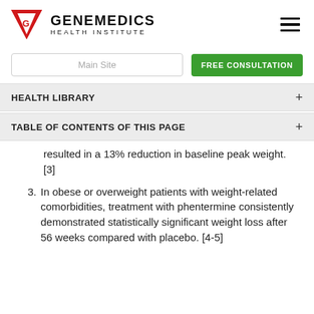[Figure (logo): Genemedics Health Institute logo with red downward-pointing triangle/G icon and text]
HEALTH LIBRARY
TABLE OF CONTENTS OF THIS PAGE
resulted in a 13% reduction in baseline peak weight. [3]
3. In obese or overweight patients with weight-related comorbidities, treatment with phentermine consistently demonstrated statistically significant weight loss after 56 weeks compared with placebo. [4-5]